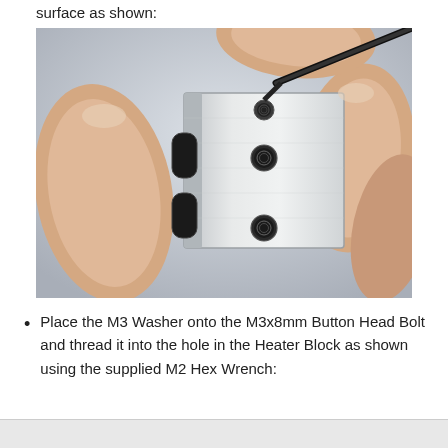surface as shown:
[Figure (photo): A hand holding a small silver aluminum heater block with threaded holes and a black thermistor wire inserted into the top. The front face shows two threaded holes (M3 size) and the left side has a slot cutout for a heater cartridge.]
Place the M3 Washer onto the M3x8mm Button Head Bolt and thread it into the hole in the Heater Block as shown using the supplied M2 Hex Wrench: